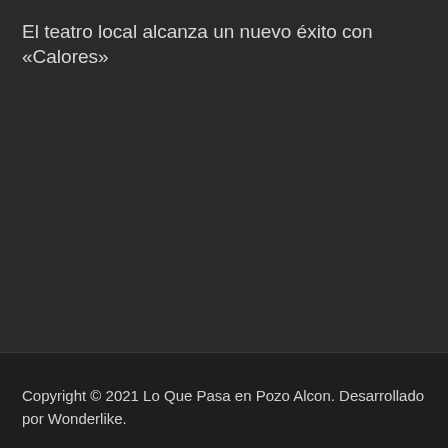El teatro local alcanza un nuevo éxito con «Calores»
Copyright © 2021 Lo Que Pasa en Pozo Alcon. Desarrollado por Wonderlike.